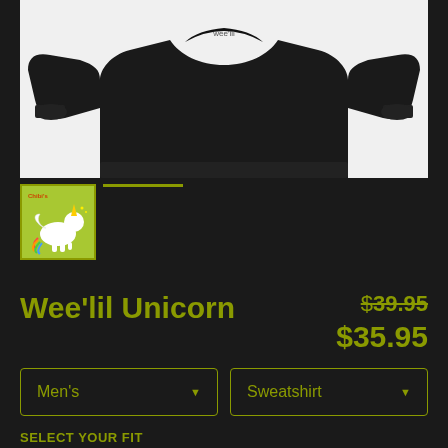[Figure (photo): Black sweatshirt/hoodie product photo on white background, showing the body and sleeves of a dark pullover sweatshirt viewed from a slightly elevated angle]
[Figure (photo): Thumbnail of the product design: chibi/cartoon unicorn on a green background, with rainbow and wings, appears to be a small white fluffy unicorn character]
Wee'lil Unicorn
$39.95 (original price, struck through) $35.95 (sale price)
Men's (dropdown selector)
Sweatshirt (dropdown selector)
SELECT YOUR FIT